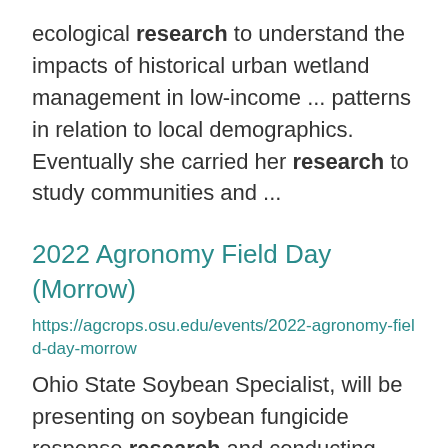ecological research to understand the impacts of historical urban wetland management in low-income ... patterns in relation to local demographics. Eventually she carried her research to study communities and ...
2022 Agronomy Field Day (Morrow)
https://agcrops.osu.edu/events/2022-agronomy-field-day-morrow
Ohio State Soybean Specialist, will be presenting on soybean fungicide response research and conducting ...